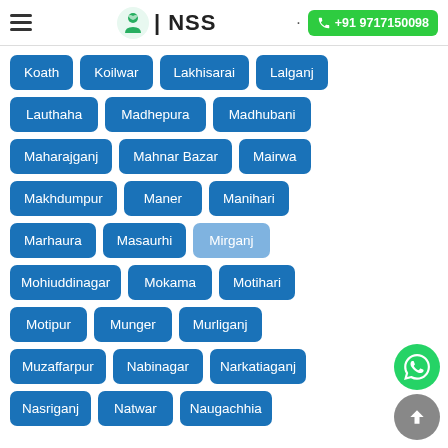NSS | +91 9717150098
Koath
Koilwar
Lakhisarai
Lalganj
Lauthaha
Madhepura
Madhubani
Maharajganj
Mahnar Bazar
Mairwa
Makhdumpur
Maner
Manihari
Marhaura
Masaurhi
Mirganj
Mohiuddinagar
Mokama
Motihari
Motipur
Munger
Murliganj
Muzaffarpur
Nabinagar
Narkatiaganj
Nasriganj
Natwar
Naugachhia